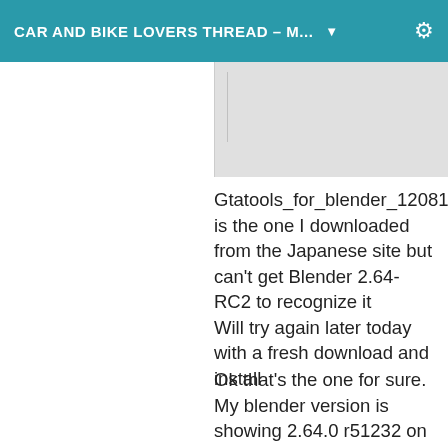CAR AND BIKE LOVERS THREAD – M...
[Figure (screenshot): Partial screenshot of an image, light gray background with a thin vertical line on the left side]
Gtatools_for_blender_120812 is the one I downloaded from the Japanese site but can't get Blender 2.64-RC2 to recognize it
Will try again later today with a fresh download and install
Ok that's the one for sure. My blender version is showing 2.64.0 r51232 on the splash screen and it is working great. Got it that' s 2.64a which I've just reinstalled it to and yep it works fine now must have had